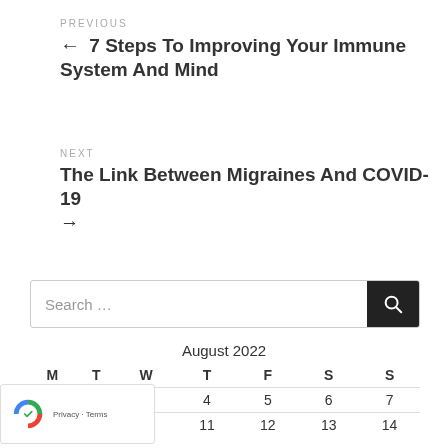PREVIOUS
← 7 Steps To Improving Your Immune System And Mind
NEXT
The Link Between Migraines And COVID-19 →
Search …
| M | T | W | T | F | S | S |
| --- | --- | --- | --- | --- | --- | --- |
|  | 2 | 3 | 4 | 5 | 6 | 7 |
| 8 | 9 | 10 | 11 | 12 | 13 | 14 |
August 2022